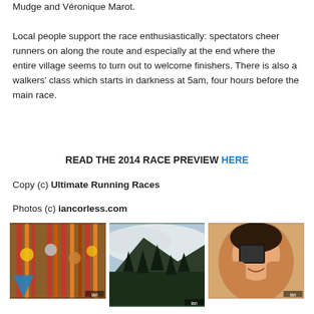Mudge and Véronique Marot.
Local people support the race enthusiastically: spectators cheer runners on along the route and especially at the end where the entire village seems to turn out to welcome finishers. There is also a walkers' class which starts in darkness at 5am, four hours before the main race.
READ THE 2014 RACE PREVIEW HERE
Copy (c) Ultimate Running Races
Photos (c) iancorless.com
[Figure (photo): Close-up of race medals and ribbons hanging on wooden posts with a blue triangle visible]
[Figure (photo): Mountain landscape with trees in foreground and misty clouds over peaks]
[Figure (photo): Person holding a phone up to their face, smiling, photographed indoors]